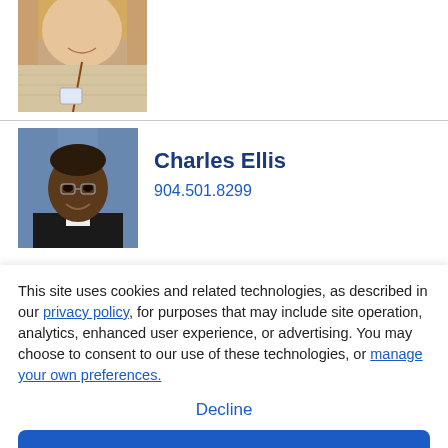[Figure (photo): Partial photo of a woman with long blonde hair wearing a beige knit top and a lanyard with a name tag, cropped at torso, visible from approximately shoulder to mid-chest.]
[Figure (photo): Headshot photo of Charles Ellis, a smiling man in a dark suit against a blue background.]
Charles Ellis
904.501.8299
This site uses cookies and related technologies, as described in our privacy policy, for purposes that may include site operation, analytics, enhanced user experience, or advertising. You may choose to consent to our use of these technologies, or manage your own preferences.
Decline
Accept